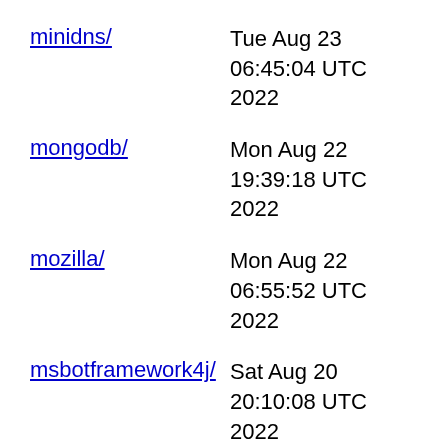minidns/ - Tue Aug 23 06:45:04 UTC 2022
mongodb/ - Mon Aug 22 19:39:18 UTC 2022
mozilla/ - Mon Aug 22 06:55:52 UTC 2022
msbotframework4j/ - Sat Aug 20 20:10:08 UTC 2022
msgpack/ - Mon Aug 22 21:46:33 UTC 2022
mutabilitydetector/ - Fri Aug 19 08:46:48 UTC 2022
nanohttpd/ - Sun Aug 21 20:09:53 UTC 2022